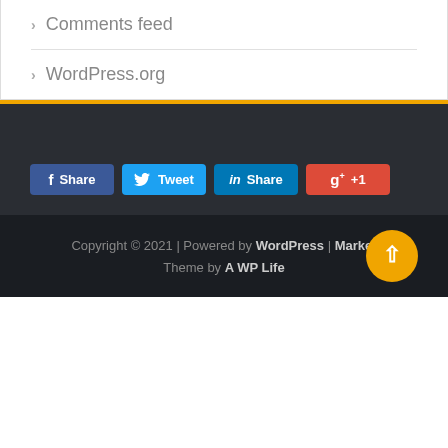> Comments feed
> WordPress.org
[Figure (other): Social share buttons: Share (Facebook), Tweet (Twitter), Share (LinkedIn), g+ +1 (Google+)]
Copyright © 2021 | Powered by WordPress | Market Theme by A WP Life